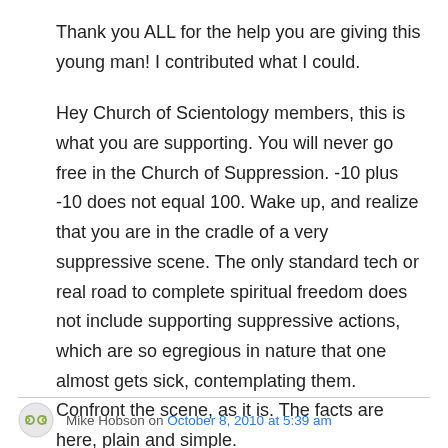Thank you ALL for the help you are giving this young man! I contributed what I could.
Hey Church of Scientology members, this is what you are supporting. You will never go free in the Church of Suppression. -10 plus -10 does not equal 100. Wake up, and realize that you are in the cradle of a very suppressive scene. The only standard tech or real road to complete spiritual freedom does not include supporting suppressive actions, which are so egregious in nature that one almost gets sick, contemplating them. Confront the scene, as it is. The facts are here, plain and simple.
Mike Hobson on October 8, 2010 at 5:39 am